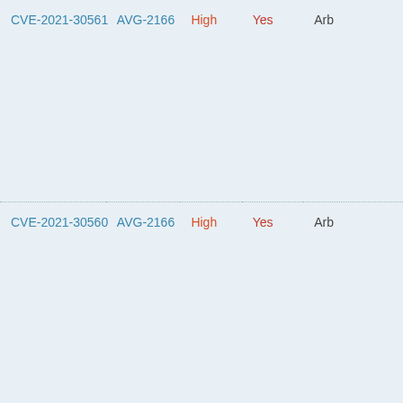| CVE ID | AVG | Severity | Exploited | Type |
| --- | --- | --- | --- | --- |
| CVE-2021-30561 | AVG-2166 | High | Yes | Arb |
| CVE-2021-30560 | AVG-2166 | High | Yes | Arb |